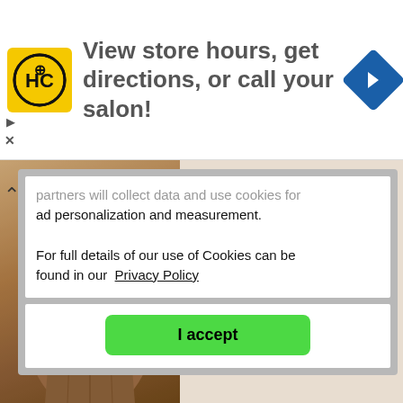[Figure (screenshot): Advertisement banner: HC logo (yellow square with HC text), text 'View store hours, get directions, or call your salon!', blue diamond navigation icon]
partners will collect data and use cookies for ad personalization and measurement.
For full details of our use of Cookies can be found in our  Privacy Policy
[Figure (screenshot): Green 'I accept' button in cookie consent dialog]
[Figure (photo): Sepia-toned vintage photograph of a young woman in early 20th century dress]
Find historical records about your ancestors
[Figure (screenshot): Form with First name and Last name input fields and an orange Search button]